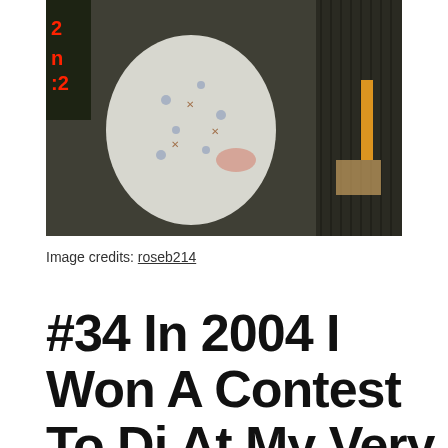[Figure (photo): A child in white pajamas with snowman/holiday print pattern crawling or playing on a dark carpet floor. Some items visible to the right side.]
Image credits: roseb214
#34 In 2004 I Won A Contest To Dj At My Very Small Hometown's Easy-